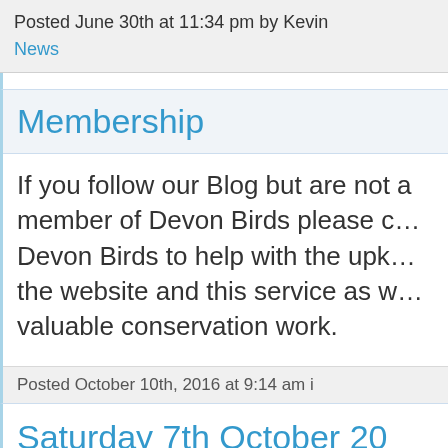Posted June 30th at 11:34 pm by Kevin
News
Membership
If you follow our Blog but are not a member of Devon Birds please consider joining Devon Birds to help with the upkeep of the website and this service as well as its valuable conservation work.
Posted October 10th, 2016 at 9:14 am i
Saturday 7th October 20